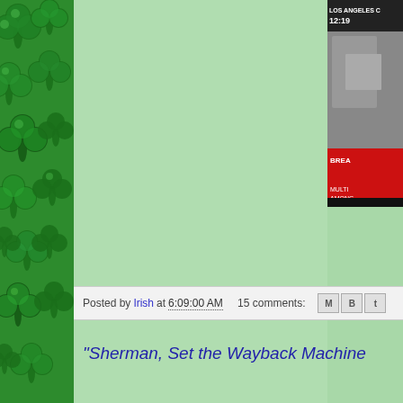[Figure (illustration): Green shamrock/clover pattern sidebar on the left edge of the page]
[Figure (screenshot): Partial TV news screenshot in upper right showing 'LOS ANGELES' text, time '12:19', red breaking news banner with 'BREA' visible, 'MULTI' and 'AMONG' text on lower banner]
Posted by Irish at 6:09:00 AM    15 comments:
"Sherman, Set the Wayback Machine